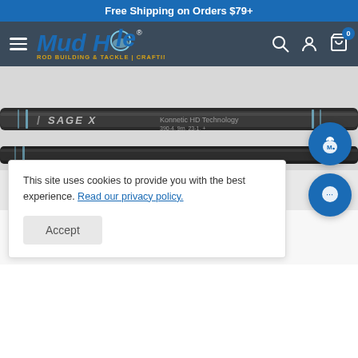Free Shipping on Orders $79+
[Figure (logo): Mud Hole Rod Building & Tackle | Crafting logo with navigation icons]
[Figure (photo): Close-up of a Sage X fly fishing rod blank showing the rod's branding text]
This site uses cookies to provide you with the best experience. Read our privacy policy.
Accept